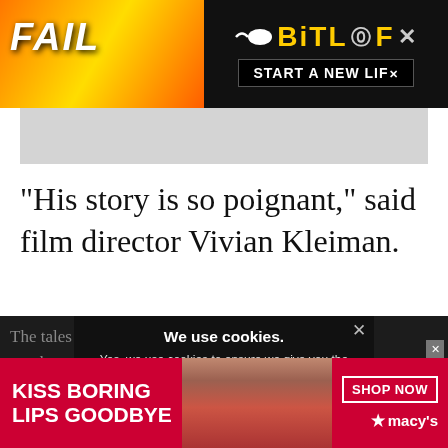[Figure (screenshot): BitLife app advertisement banner with 'FAIL' text, cartoon emoji, flames, and 'START A NEW LIFE' tagline on dark/red background]
[Figure (photo): Gray placeholder image area below the top ad]
“His story is so poignant,” said film director Vivian Kleiman.
The tales of all f... ally engaging as are thr... personally... they against. all o...
We use cookies.
Yes, we use cookies to ensure we give you the best experience using this website.
By closing this box or clicking on the continue button, you agree to our terms of use and consent to the use of
[Figure (photo): Macy's advertisement: 'KISS BORING LIPS GOODBYE' with close-up of woman's lips with red lipstick, SHOP NOW button and Macy's star logo]